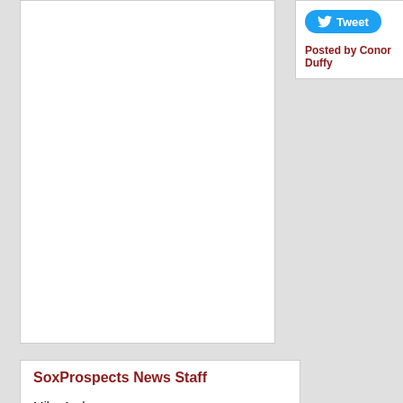[Figure (other): White empty box / content area placeholder]
Tweet
Posted by Conor Duffy
SoxProspects News Staff
Mike Andrews
Chris Hatfield
Ian Cundall